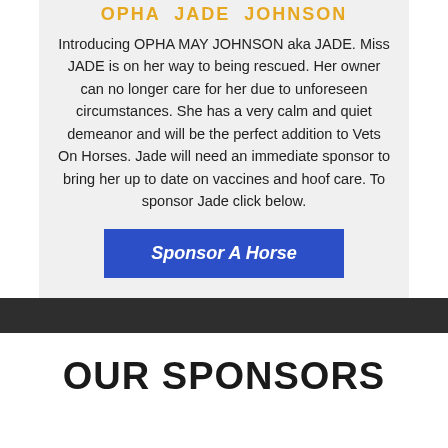OPHA JADE JOHNSON
Introducing OPHA MAY JOHNSON aka JADE. Miss JADE is on her way to being rescued. Her owner can no longer care for her due to unforeseen circumstances. She has a very calm and quiet demeanor and will be the perfect addition to Vets On Horses. Jade will need an immediate sponsor to bring her up to date on vaccines and hoof care. To sponsor Jade click below.
Sponsor A Horse
OUR SPONSORS